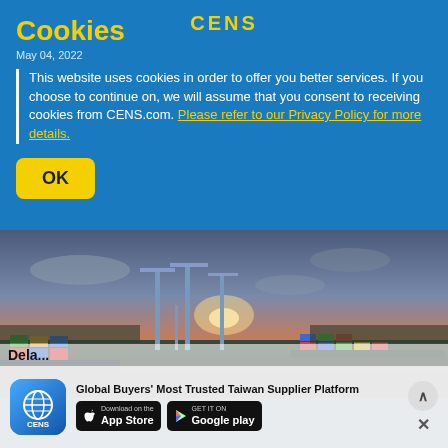Cookies
May 04, 2022
This website uses cookies in order to offer you better services. If you choose to continue on, we will assume that you consent to receiving cookies from CENS.com. Please refer to our Privacy Policy for more details.
OK
[Figure (photo): Aerial view of a container port at sunset with large blue cranes and stacked shipping containers]
Global Buyers' Most Trusted Taiwan Supplier Platform
[Figure (logo): CENS app icon - blue globe logo]
Download on the App Store
GET IT ON Google play